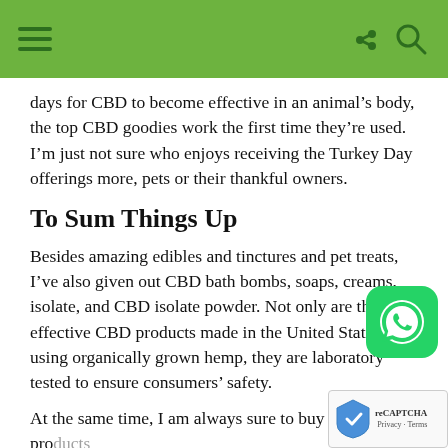Navigation bar with hamburger menu, share icon, search icon
days for CBD to become effective in an animal’s body, the top CBD goodies work the first time they’re used. I’m just not sure who enjoys receiving the Turkey Day offerings more, pets or their thankful owners.
To Sum Things Up
Besides amazing edibles and tinctures and pet treats, I’ve also given out CBD bath bombs, soaps, creams, isolate, and CBD isolate powder. Not only are the most effective CBD products made in the United States using organically grown hemp, they are laboratory tested to ensure consumers’ safety.
At the same time, I am always sure to buy CBD products